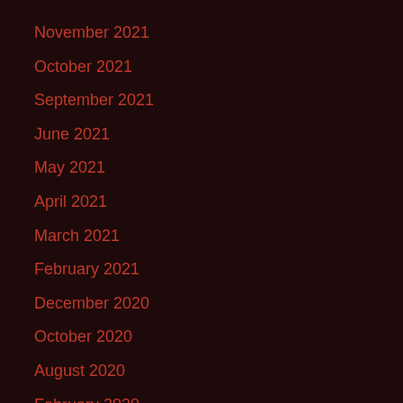November 2021
October 2021
September 2021
June 2021
May 2021
April 2021
March 2021
February 2021
December 2020
October 2020
August 2020
February 2020
November 2019
October 2019
September 2019